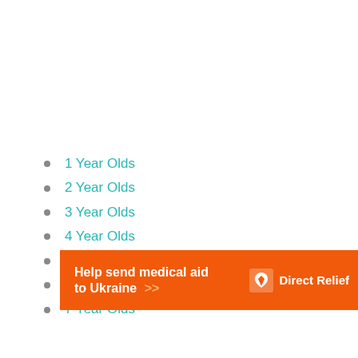1 Year Olds
2 Year Olds
3 Year Olds
4 Year Olds
5 Year Olds
6 Year Olds
7 Year Olds
[Figure (infographic): Orange advertisement banner for Direct Relief: 'Help send medical aid to Ukraine >>' with Direct Relief logo]